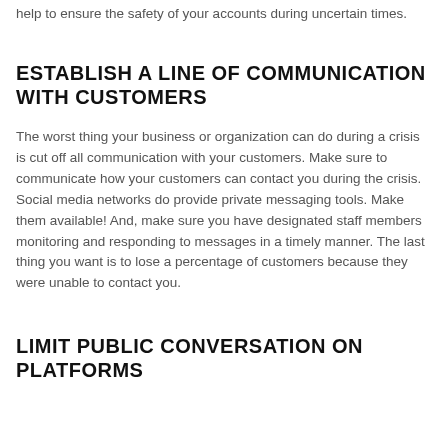help to ensure the safety of your accounts during uncertain times.
ESTABLISH A LINE OF COMMUNICATION WITH CUSTOMERS
The worst thing your business or organization can do during a crisis is cut off all communication with your customers. Make sure to communicate how your customers can contact you during the crisis. Social media networks do provide private messaging tools. Make them available!  And, make sure you have designated staff members monitoring and responding to messages in a timely manner. The last thing you want is to lose a percentage of customers because they were unable to contact you.
LIMIT PUBLIC CONVERSATION ON PLATFORMS